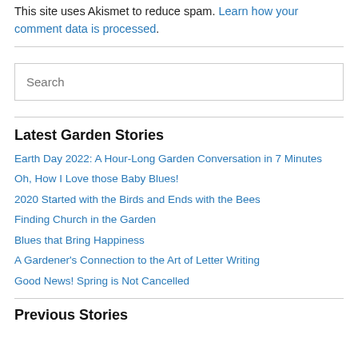This site uses Akismet to reduce spam. Learn how your comment data is processed.
Latest Garden Stories
Earth Day 2022: A Hour-Long Garden Conversation in 7 Minutes
Oh, How I Love those Baby Blues!
2020 Started with the Birds and Ends with the Bees
Finding Church in the Garden
Blues that Bring Happiness
A Gardener's Connection to the Art of Letter Writing
Good News! Spring is Not Cancelled
Previous Stories